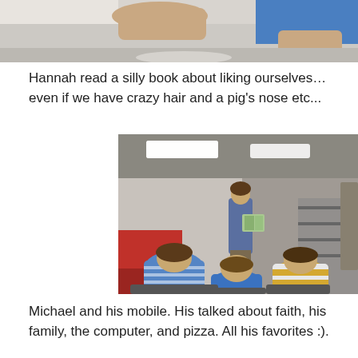[Figure (photo): Close-up photo of children's hands/arms on a table, partial view cropped at top of page]
Hannah read a silly book about liking ourselves…even if we have crazy hair and a pig's nose etc...
[Figure (photo): A woman (Hannah) stands holding an open picture book, reading to a group of children seated with their backs to the camera in what appears to be a school cafeteria or multi-purpose room]
Michael and his mobile. His talked about faith, his family, the computer, and pizza. All his favorites :).